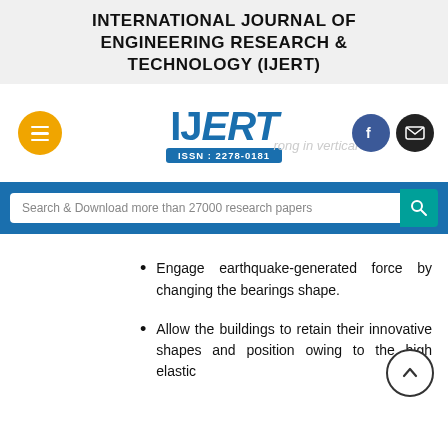INTERNATIONAL JOURNAL OF ENGINEERING RESEARCH & TECHNOLOGY (IJERT)
[Figure (logo): IJERT logo with ISSN: 2278-0181, menu button, Facebook and email social buttons]
Search & Download more than 27000 research papers
Engage earthquake-generated force by changing the bearings shape.
Allow the buildings to retain their innovative shapes and position owing to the high elastic